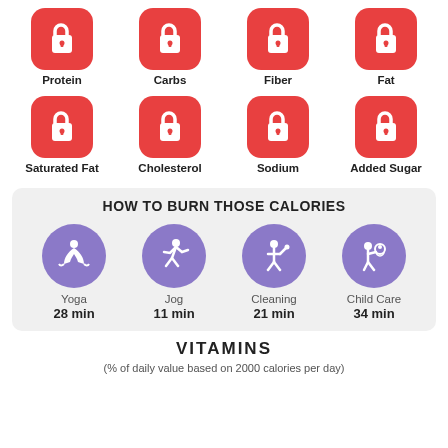[Figure (infographic): Two rows of red rounded-square lock icons representing locked nutrient information: Protein, Carbs, Fiber, Fat (row 1); Saturated Fat, Cholesterol, Sodium, Added Sugar (row 2)]
[Figure (infographic): Section titled HOW TO BURN THOSE CALORIES with four purple circle activity icons: Yoga 28 min, Jog 11 min, Cleaning 21 min, Child Care 34 min]
VITAMINS
(% of daily value based on 2000 calories per day)